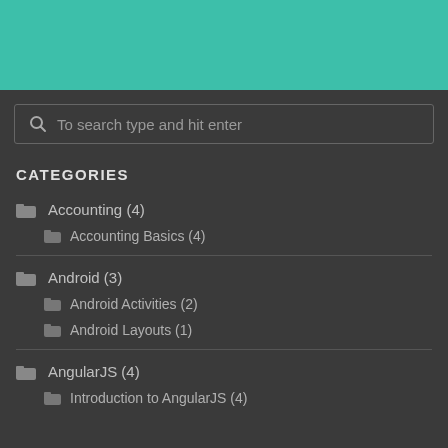[Figure (other): Teal/green header bar at top of page]
To search type and hit enter
CATEGORIES
Accounting (4)
Accounting Basics (4)
Android (3)
Android Activities (2)
Android Layouts (1)
AngularJS (4)
Introduction to AngularJS (4)